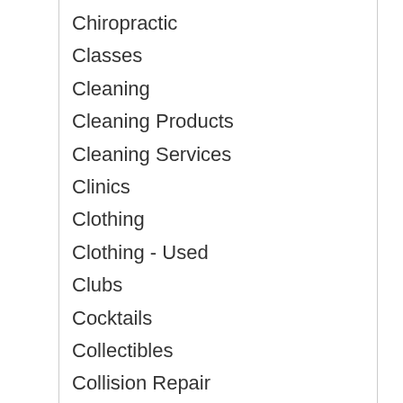Chiropractic
Classes
Cleaning
Cleaning Products
Cleaning Services
Clinics
Clothing
Clothing - Used
Clubs
Cocktails
Collectibles
Collision Repair
Commercial Cleaning
Commercial Contractors
Community